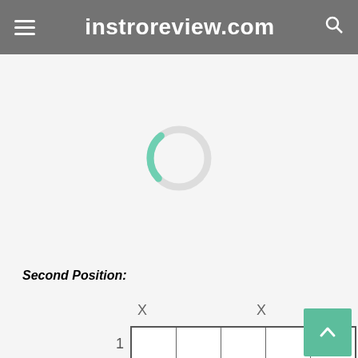instroreview.com
[Figure (other): Loading spinner (circular progress indicator, light grey ring with teal/green arc)]
Second Position:
[Figure (other): Guitar chord/scale diagram showing a fret grid with X markers above strings 1 and 6, fret row number 1 on the left, with an orange circle partially visible at the bottom]